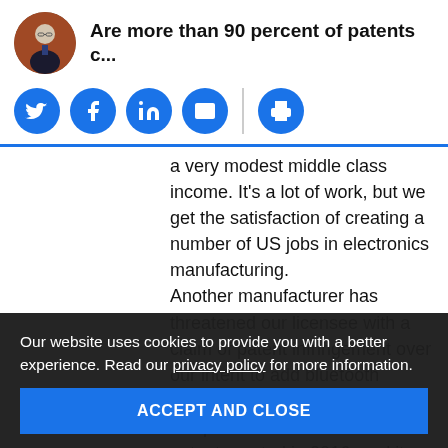Are more than 90 percent of patents c...
[Figure (other): Social share icons row: Twitter, Facebook, LinkedIn, Email, Print]
a very modest middle class income. It’s a lot of work, but we get the satisfaction of creating a number of US jobs in electronics manufacturing. Another manufacturer has threatened our licensee with a claim of patent infringement over our intent to add bluetooth communications capabilities to this product. I’ve read their patent granted in 2016, and it doesn’t mention bluetooth. The claims only a few times in the body. I don’t see anything that could remotely be construed to describe it. In addition, several of the claims exactly describe products that have been on the
Our website uses cookies to provide you with a better experience. Read our privacy policy for more information.
ACCEPT AND CLOSE